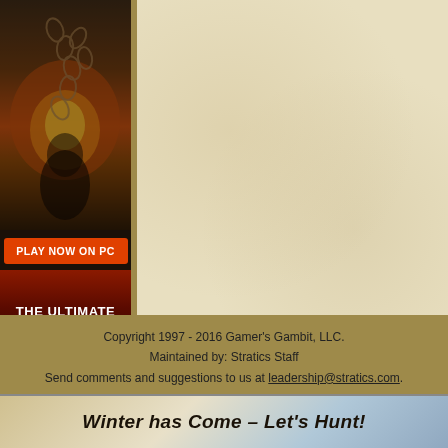[Figure (illustration): Advertisement banner for a strategic shooter game. Shows a dark action scene with chains, fire, and battle imagery. Contains an orange 'PLAY NOW ON PC' button and text 'THE ULTIMATE STRATEGIC SHOOTER' on a dark red/black background.]
Copyright 1997 - 2016 Gamer's Gambit, LLC.
Maintained by: Stratics Staff
Send comments and suggestions to us at leadership@stratics.com.
[Figure (illustration): Bottom banner advertisement showing 'Winter has Come – Let's Hunt!' text with a winter scene background.]